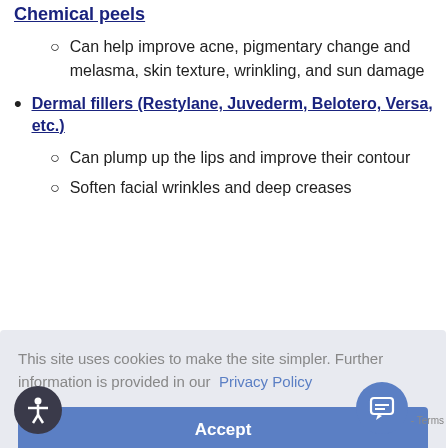Chemical peels (partial, top of page — link text visible)
Can help improve acne, pigmentary change and melasma, skin texture, wrinkling, and sun damage
Dermal fillers (Restylane, Juvederm, Belotero, Versa, etc.)
Can plump up the lips and improve their contour
Soften facial wrinkles and deep creases
This site uses cookies to make the site simpler. Further information is provided in our Privacy Policy
Accept
Terms